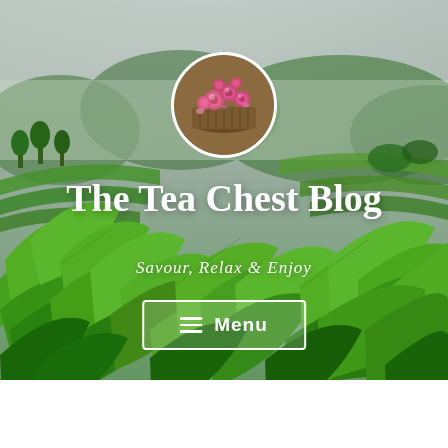[Figure (photo): Lush green tea plantation fields with terraced rows of tea bushes and misty mountains in the background. Bright green tea leaves fill the foreground. A circular logo image shows a basket of pink rose buds/tea flowers centered near the top.]
The Tea Chest Blog
Savour, Relax & Enjoy
≡ Menu